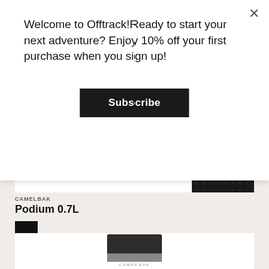Welcome to Offtrack!Ready to start your next adventure? Enjoy 10% off your first purchase when you sign up!
Subscribe
CAMELBAK
Podium 0.7L
$22.95
[Figure (photo): CamelBak water bottle product image, dark textured surface visible at top]
[Figure (photo): CamelBak insulated container, dark grey with silver band and CamelBak branding, bottom portion visible]